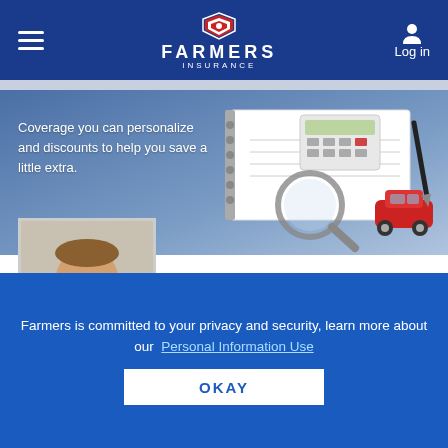[Figure (screenshot): Farmers Insurance navigation bar with hamburger menu, Farmers Insurance logo with shield icon, and Log in button with person icon]
[Figure (photo): Hero banner with blue background showing a calculator, notebook, magnifying glass, pen, and red toy car with text: Coverage you can personalize and discounts to help you save a little extra.]
Coverage you can personalize and discounts to help you save a little extra.
[Figure (photo): Photo of insurance agent Darin Edwards wearing a green shirt and tie, smiling]
DARIN EDWARDS
Farmers Insurance Agent in Kingman, AZ
GET A QUOTE
Farmers is committed to your privacy and security, learn more about our  Personal Information Use
OKAY